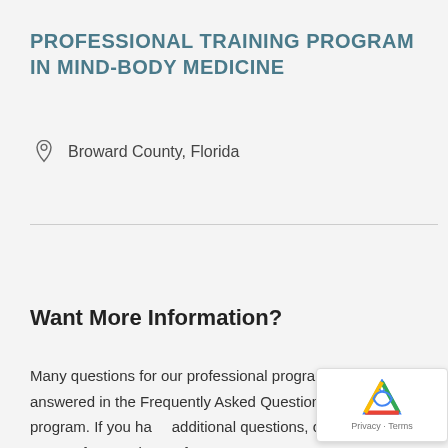PROFESSIONAL TRAINING PROGRAM IN MIND-BODY MEDICINE
Broward County, Florida
Want More Information?
Many questions for our professional programs can be answered in the Frequently Asked Questions for each program. If you have additional questions, complete the contact form and one of our representatives will be in touch with...